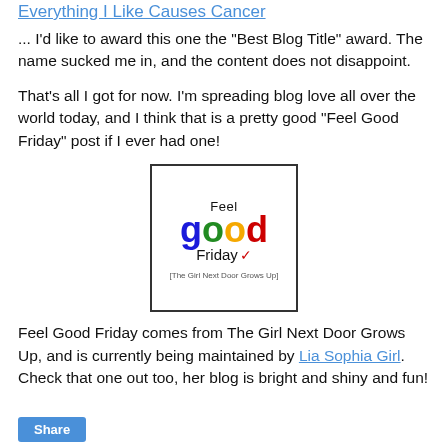Everything I Like Causes Cancer
... I'd like to award this one the "Best Blog Title" award.  The name sucked me in, and the content does not disappoint.
That's all I got for now.  I'm spreading blog love all over the world today, and I think that is a pretty good "Feel Good Friday" post if I ever had one!
[Figure (logo): Feel Good Friday logo with colorful letters spelling 'good', subtext '[The Girl Next Door Grows Up]', inside a black border box]
Feel Good Friday comes from The Girl Next Door Grows Up, and is currently being maintained by Lia Sophia Girl.  Check that one out too, her blog is bright and shiny and fun!